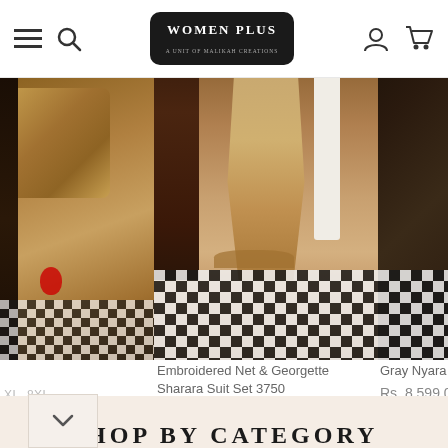WOMEN PLUS
[Figure (photo): E-commerce website screenshot showing clothing products - Embroidered Net & Georgette Sharara Suit Set and Gray Nyara product, on a Women Plus fashion retail site]
Embroidered Net & Georgette Sharara Suit Set 3750
Rs. 6,799.00
S  M  L  XL  XXL  3XL  4XL
Gray Nyara
Rs. 8,599.0
S  M  L  XL
XL  8XL
SHOP BY CATEGORY